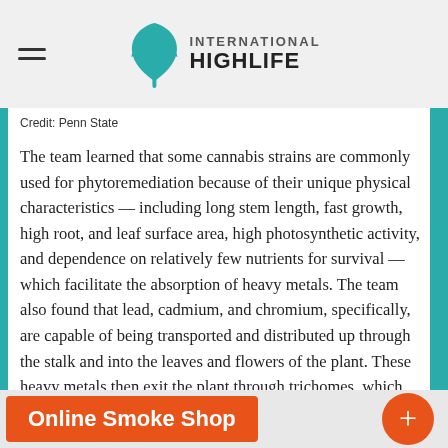International Highlife
Credit: Penn State
The team learned that some cannabis strains are commonly used for phytoremediation because of their unique physical characteristics — including long stem length, fast growth, high root, and leaf surface area, high photosynthetic activity, and dependence on relatively few nutrients for survival — which facilitate the absorption of heavy metals. The team also found that lead, cadmium, and chromium, specifically, are capable of being transported and distributed up through the stalk and into the leaves and flowers of the plant. These heavy metals then exit the plant through trichomes, which are hairlike structures located on the flowers.
Online Smoke Shop